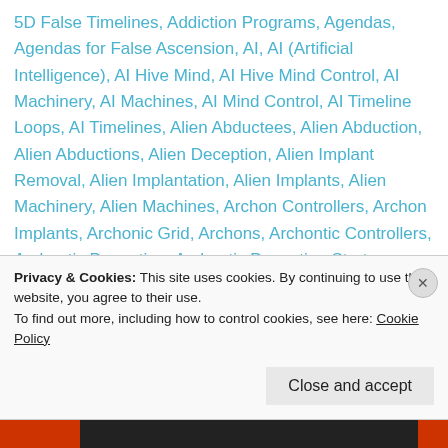5D False Timelines, Addiction Programs, Agendas, Agendas for False Ascension, AI, AI (Artificial Intelligence), AI Hive Mind, AI Hive Mind Control, AI Machinery, AI Machines, AI Mind Control, AI Timeline Loops, AI Timelines, Alien Abductees, Alien Abduction, Alien Abductions, Alien Deception, Alien Implant Removal, Alien Implantation, Alien Implants, Alien Machinery, Alien Machines, Archon Controllers, Archon Implants, Archonic Grid, Archons, Archontic Controllers, Archontic Deception, Archontic Deception Strategy, Archontic Programming, Artificial Cloned Versions, Artificial Consciousness, Artificial Construct Clearing, Artificial Constructs, Artificial Dreamscapes, Artificial Intelligence
Privacy & Cookies: This site uses cookies. By continuing to use this website, you agree to their use.
To find out more, including how to control cookies, see here: Cookie Policy